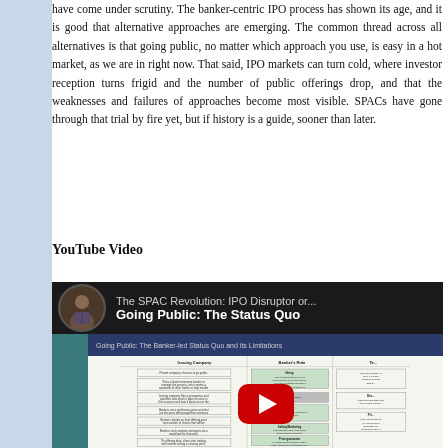have come under scrutiny. The banker-centric IPO process has shown its age, and it is good that alternative approaches are emerging. The common thread across all alternatives is that going public, no matter which approach you use, is easy in a hot market, as we are in right now. That said, IPO markets can turn cold, where investor reception turns frigid and the number of public offerings drop, and that the weaknesses and failures of approaches become most visible. SPACs have gone through that trial by fire yet, but if history is a guide, sooner than later.
YouTube Video
[Figure (screenshot): YouTube video thumbnail showing 'The SPAC Revolution: IPO Disruptor or...' with subtitle 'Going Public: The Status Quo'. Features a circular avatar of a man in the top left, and a slide showing 'Going Public: The Banker-led Status Quo and its Limitations' with columns for Issuing Company, Banker's Role, and other details. A red YouTube play button is overlaid in the center.]